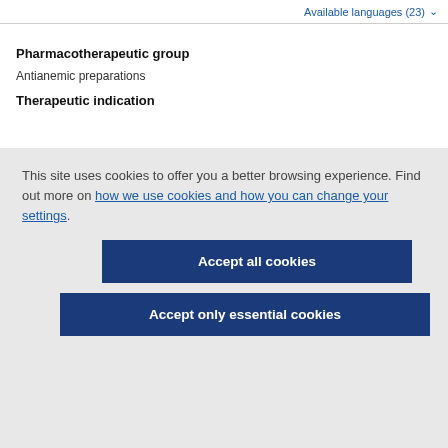Available languages (23)
Pharmacotherapeutic group
Antianemic preparations
Therapeutic indication
This site uses cookies to offer you a better browsing experience. Find out more on how we use cookies and how you can change your settings.
Accept all cookies
Accept only essential cookies